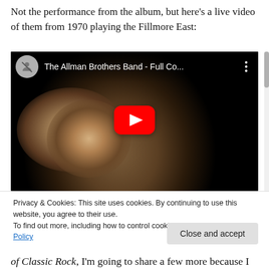Not the performance from the album, but here’s a live video of them from 1970 playing the Fillmore East:
[Figure (screenshot): YouTube video embed showing The Allman Brothers Band - Full Co... with a play button overlay. The thumbnail shows a close-up of a person's face with long hair in a dark, low-quality video.]
Privacy & Cookies: This site uses cookies. By continuing to use this website, you agree to their use.
To find out more, including how to control cookies, see here: Cookie Policy
of Classic Rock, I’m going to share a few more because I